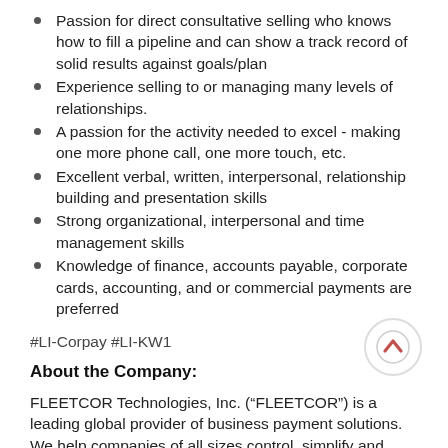Passion for direct consultative selling who knows how to fill a pipeline and can show a track record of solid results against goals/plan
Experience selling to or managing many levels of relationships.
A passion for the activity needed to excel - making one more phone call, one more touch, etc.
Excellent verbal, written, interpersonal, relationship building and presentation skills
Strong organizational, interpersonal and time management skills
Knowledge of finance, accounts payable, corporate cards, accounting, and or commercial payments are preferred
#LI-Corpay #LI-KW1
About the Company:
FLEETCOR Technologies, Inc. (“FLEETCOR”) is a leading global provider of business payment solutions. We help companies of all sizes control, simplify and secure payment of various domestic and cross-border payables using specialized payment products. We serve businesses, partners, merchants, consumers